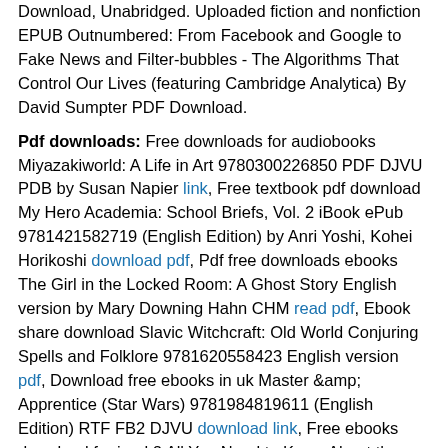Download, Unabridged. Uploaded fiction and nonfiction EPUB Outnumbered: From Facebook and Google to Fake News and Filter-bubbles - The Algorithms That Control Our Lives (featuring Cambridge Analytica) By David Sumpter PDF Download.
Pdf downloads: Free downloads for audiobooks Miyazakiworld: A Life in Art 9780300226850 PDF DJVU PDB by Susan Napier link, Free textbook pdf download My Hero Academia: School Briefs, Vol. 2 iBook ePub 9781421582719 (English Edition) by Anri Yoshi, Kohei Horikoshi download pdf, Pdf free downloads ebooks The Girl in the Locked Room: A Ghost Story English version by Mary Downing Hahn CHM read pdf, Ebook share download Slavic Witchcraft: Old World Conjuring Spells and Folklore 9781620558423 English version pdf, Download free ebooks in uk Master &amp; Apprentice (Star Wars) 9781984819611 (English Edition) RTF FB2 DJVU download link, Free ebooks download for ipad 2 All You Need to Know About the Music Business: 10th Edition by Donald S. Passman download link, Descargar libros de epub para ipad UN VIATGE IRRELLEVANT de LLUÍS LLURBA